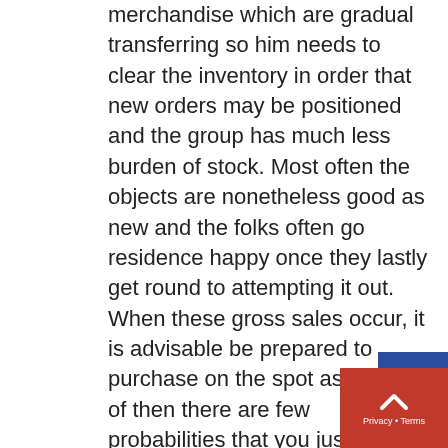merchandise which are gradual transferring so him needs to clear the inventory in order that new orders may be positioned and the group has much less burden of stock. Most often the objects are nonetheless good as new and the folks often go residence happy once they lastly get round to attempting it out. When these gross sales occur, it is advisable be prepared to purchase on the spot as a result of then there are few probabilities that you just get your required stuff o such discounted costs. You need to all the time go for the branded stuff as a result of this may provide the high quality assurance and as soon as the product is delivered to the doorstep you possibly can examine the standard. The outdated vary of cosmetics from a selected model can be an effective way to get reductions on the stuff as a result of the shares must be clear on time and must be thrown away a result of it may well't be used anymore. All the